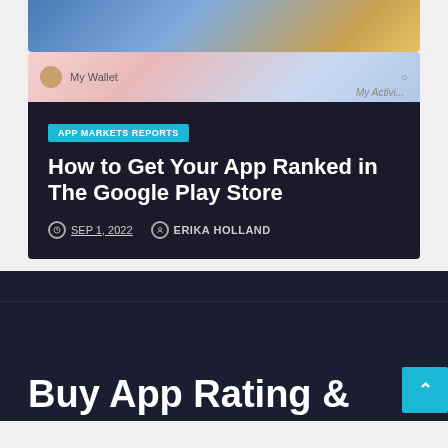[Figure (screenshot): Partial top card showing app screenshot with colorful background]
[Figure (screenshot): App wallet UI screenshot with user avatar, 'My Wallet' label and 'My Activity' text]
APP MARKETS REPORTS
How to Get Your App Ranked in The Google Play Store
SEP 1, 2022   ERIKA HOLLAND
Buy App Rating &